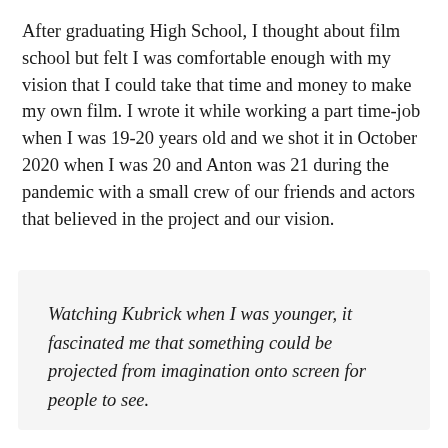After graduating High School, I thought about film school but felt I was comfortable enough with my vision that I could take that time and money to make my own film. I wrote it while working a part time-job when I was 19-20 years old and we shot it in October 2020 when I was 20 and Anton was 21 during the pandemic with a small crew of our friends and actors that believed in the project and our vision.
Watching Kubrick when I was younger, it fascinated me that something could be projected from imagination onto screen for people to see.